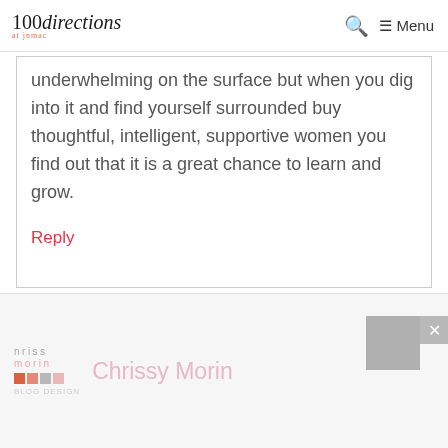100directions at jnmac | Search | Menu
underwhelming on the surface but when you dig into it and find yourself surrounded buy thoughtful, intelligent, supportive women you find out that it is a great chance to learn and grow.
Reply
[Figure (logo): Chrissy Morin logo with colored squares]